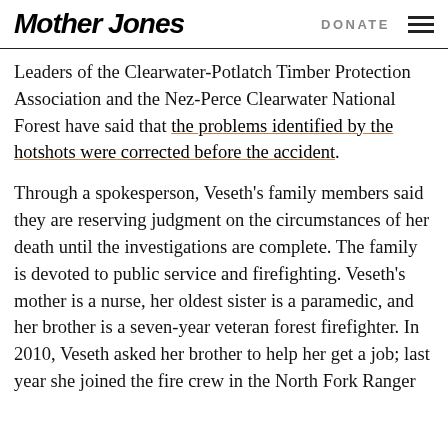Mother Jones | DONATE
Leaders of the Clearwater-Potlatch Timber Protection Association and the Nez-Perce Clearwater National Forest have said that the problems identified by the hotshots were corrected before the accident.
Through a spokesperson, Veseth’s family members said they are reserving judgment on the circumstances of her death until the investigations are complete. The family is devoted to public service and firefighting. Veseth’s mother is a nurse, her oldest sister is a paramedic, and her brother is a seven-year veteran forest firefighter. In 2010, Veseth asked her brother to help her get a job; last year she joined the fire crew in the North Fork Ranger